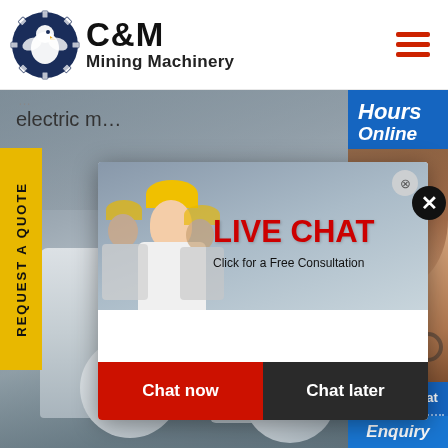[Figure (logo): C&M Mining Machinery logo with eagle/gear icon in navy blue circle and bold C&M text]
electric m...
REQUEST A QUOTE
[Figure (photo): Mining machinery equipment (industrial rollers/mills) in factory background]
[Figure (screenshot): Live chat popup with workers in hard hats, LIVE CHAT title in red, Click for a Free Consultation subtitle, Chat now (red) and Chat later (dark) buttons]
[Figure (photo): Right sidebar chat widget with Hours Online text, female agent with headset photo, Click to Chat button, and Enquiry text]